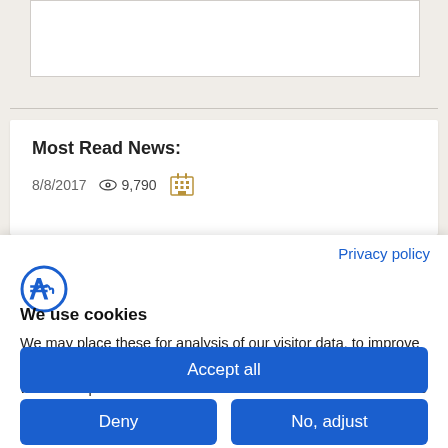[Figure (screenshot): Top section of a webpage with beige background, white card fragment, horizontal divider line]
Most Read News:
8/8/2017  9,790
Privacy policy
[Figure (logo): Circular F logo in blue, cookie consent branding]
We use cookies
We may place these for analysis of our visitor data, to improve our website, show personalised content and to give you a great website experience. For more information about the cookies we use open the settings.
Accept all
Deny
No, adjust